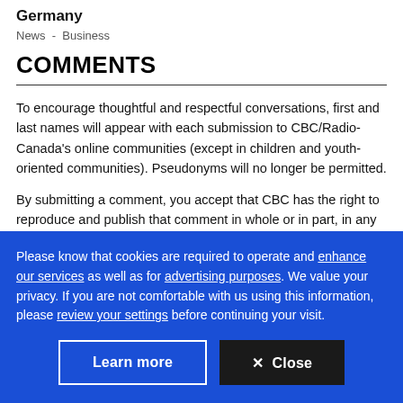Germany
News  -  Business
COMMENTS
To encourage thoughtful and respectful conversations, first and last names will appear with each submission to CBC/Radio-Canada's online communities (except in children and youth-oriented communities). Pseudonyms will no longer be permitted.
By submitting a comment, you accept that CBC has the right to reproduce and publish that comment in whole or in part, in any manner CBC chooses. Please note that CBC does not
Please know that cookies are required to operate and enhance our services as well as for advertising purposes. We value your privacy. If you are not comfortable with us using this information, please review your settings before continuing your visit.